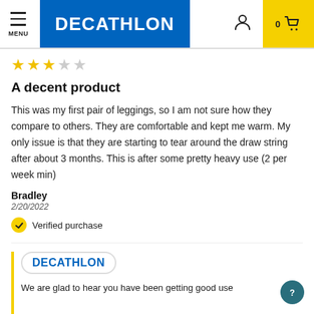MENU | DECATHLON | 0 cart
[Figure (other): 3 out of 5 star rating shown as yellow filled stars and grey empty stars]
A decent product
This was my first pair of leggings, so I am not sure how they compare to others. They are comfortable and kept me warm. My only issue is that they are starting to tear around the draw string after about 3 months. This is after some pretty heavy use (2 per week min)
Bradley
2/20/2022
Verified purchase
DECATHLON
We are glad to hear you have been getting good use